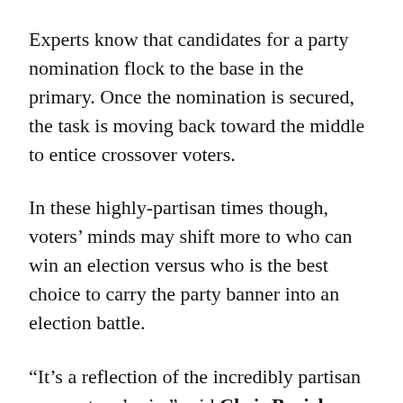Experts know that candidates for a party nomination flock to the base in the primary. Once the nomination is secured, the task is moving back toward the middle to entice crossover voters.
In these highly-partisan times though, voters' minds may shift more to who can win an election versus who is the best choice to carry the party banner into an election battle.
“It’s a reflection of the incredibly partisan moment we’re in,” said Chris Borick, professor of political science at Muhlenberg College told the Philadelphia Inquirer. “Electing a Republican, for a lot of Democrats, is simply not acceptable. So you start focusing